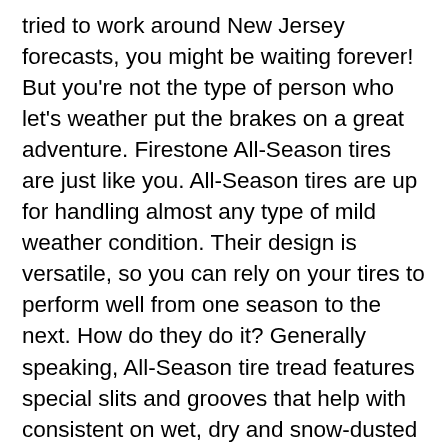tried to work around New Jersey forecasts, you might be waiting forever! But you're not the type of person who let's weather put the brakes on a great adventure. Firestone All-Season tires are just like you. All-Season tires are up for handling almost any type of mild weather condition. Their design is versatile, so you can rely on your tires to perform well from one season to the next. How do they do it? Generally speaking, All-Season tire tread features special slits and grooves that help with consistent on wet, dry and snow-dusted roads. They can tackle the road any time of year, whether you're meandering through midwestern meadows or sight-seeing in the mountains. Plus, you'll enjoy a smooth ride, too! That said, All-Season tires are kind of like athletic shoes. You can wear them year-round to protect your feet and take you where you need to go. But you wouldn't wear sneakers on the beach or if you were hiking an ice-blanketed mountain. Similarly, All-Season tires aren't necessarily the best option if you drive in a very icy, cold place.